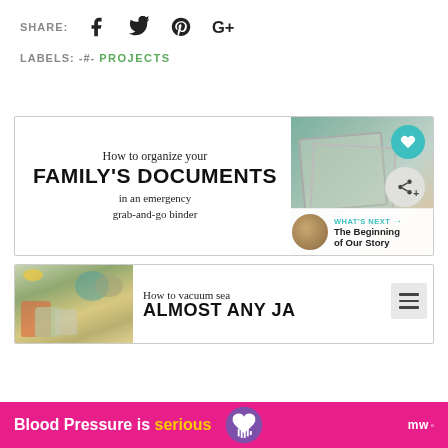SHARE:
LABELS: -#- PROJECTS
[Figure (screenshot): Card showing 'How to organize your FAMILY'S DOCUMENTS in an emergency grab-and-go binder' with a photo of binders and overlay buttons for heart/share. A 'WHAT'S NEXT' panel shows 'The Beginning of Our Story'.]
[Figure (screenshot): Card showing jars photo on left and text 'How to vacuum se... ALMOST ANY JA...' on right, with a hamburger menu button overlay.]
Blood Pressure is serious